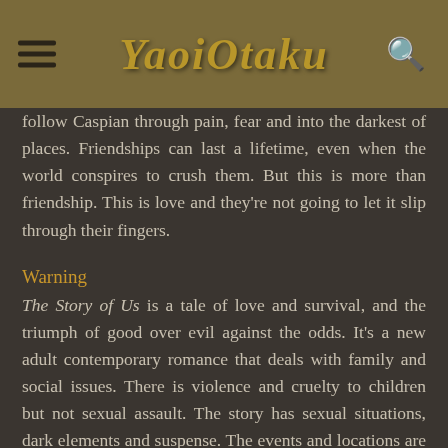YaoiOtaku
follow Caspian through pain, fear and into the darkest of places. Friendships can last a lifetime, even when the world conspires to crush them. But this is more than friendship. This is love and they're not going to let it slip through their fingers.
Warning
The Story of Us is a tale of love and survival, and the triumph of good over evil against the odds. It's a new adult contemporary romance that deals with family and social issues. There is violence and cruelty to children but not sexual assault. The story has sexual situations, dark elements and suspense. The events and locations are a mixture of real and fictional. The characters are fictional.
Post's Author Opinion: